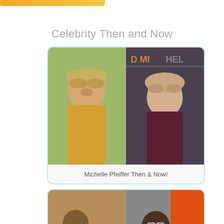Celebrity Then and Now
[Figure (photo): Two side-by-side photos of Michelle Pfeiffer: young (left, blonde in yellow outfit) and current (right, smiling at event)]
Michelle Pfeiffer Then & Now!
[Figure (photo): Two side-by-side photos: left shows a man with a baby (younger years), right shows a man in suit with glasses at an event with MTV branding]